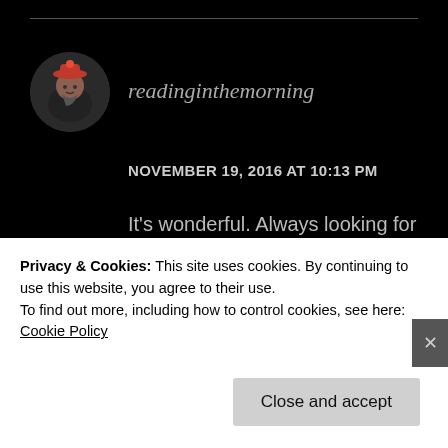[Figure (photo): Round avatar photo of a person wearing a red hat, shown in a circular crop]
readinginthemorning
NOVEMBER 19, 2016 AT 10:13 PM
It's wonderful. Always looking for some new books to read. Ciao!
★ Liked by 1 person
REPLY
Privacy & Cookies: This site uses cookies. By continuing to use this website, you agree to their use.
To find out more, including how to control cookies, see here: Cookie Policy
Close and accept